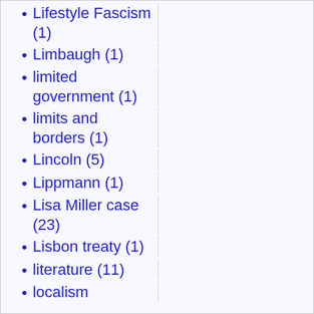Lifestyle Fascism (1)
Limbaugh (1)
limited government (1)
limits and borders (1)
Lincoln (5)
Lippmann (1)
Lisa Miller case (23)
Lisbon treaty (1)
literature (11)
localism